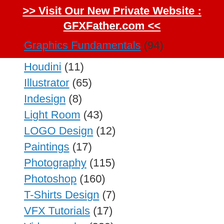[Figure (infographic): Red banner with white bold text: '>> Visit Our New Private Website : GFXFather.com <<']
Graphics Fundamentals (94)
Houdini (11)
Illustrator (65)
Indesign (8)
Light Room (43)
LOGO Design (12)
Paintings (17)
Photography (115)
Photoshop (160)
T-Shirts Design (7)
VFX Tutorials (17)
Videography (229)